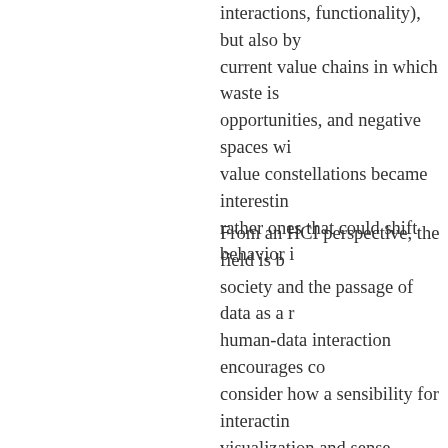interactions, functionality), but also by current value chains in which waste is opportunities, and negative spaces wi value constellations became interestin rather ones that could shift behavior i
From an HCI perspective, the field is b society and the passage of data as a r human-data interaction encourages co consider how a sensibility for interactin visualization and sense-making to tra analytics and commerce, the paper hi how it should design beyond physical of big data and personal analytics. Wh leap in disciplinary expertise, it may be stepping stone. Engaging in the tensio material interventions and social pract designers a space in which value is m into a designed product.
Final Thoughts
Design schools, currently organized a catch up with how contemporary busin in how the world engages with people we need to take seriously the idea tha services but instead value itself. The